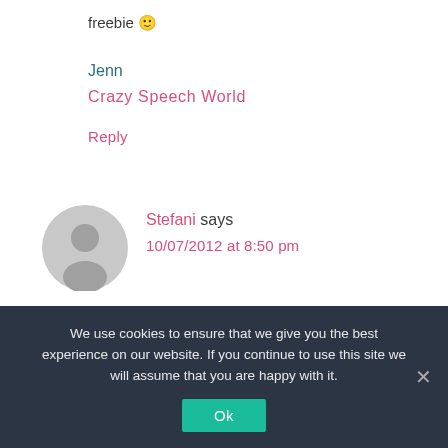freebie 🙂
Jenn
Crazy Speech World
Reply
[Figure (illustration): Default user avatar: gray circle with gray silhouette of a person]
Stefani says
10/07/2012 at 8:50 pm
We use cookies to ensure that we give you the best experience on our website. If you continue to use this site we will assume that you are happy with it.